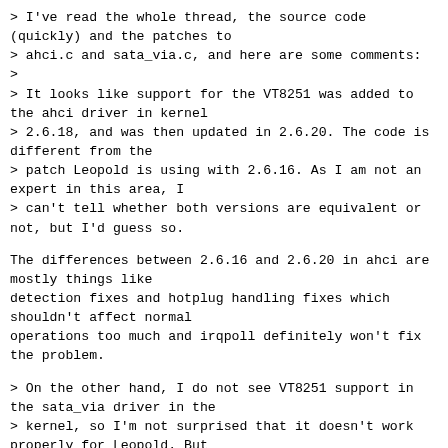> I've read the whole thread, the source code (quickly) and the patches to
> ahci.c and sata_via.c, and here are some comments:
>
> It looks like support for the VT8251 was added to the ahci driver in kernel
> 2.6.18, and was then updated in 2.6.20. The code is different from the
> patch Leopold is using with 2.6.16. As I am not an expert in this area, I
> can't tell whether both versions are equivalent or not, but I'd guess so.
The differences between 2.6.16 and 2.6.20 in ahci are mostly things like
detection fixes and hotplug handling fixes which shouldn't affect normal
operations too much and irqpoll definitely won't fix the problem.
> On the other hand, I do not see VT8251 support in the sata_via driver in the
> kernel, so I'm not surprised that it doesn't work properly for Leopold. But
> again I am no expert in the area, so maybe the sata_via driver in the kernel
> is supposed to work for VT8251-based systems. Jeff (cc'd) should know better.
vt8251 is an ahci controller so sata_via is irrelevant.